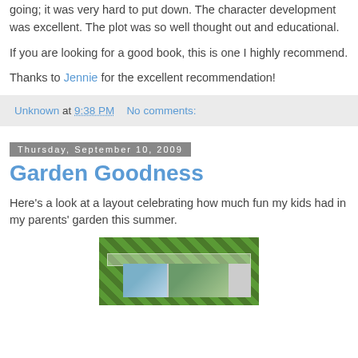going; it was very hard to put down. The character development was excellent. The plot was so well thought out and educational.
If you are looking for a good book, this is one I highly recommend.
Thanks to Jennie for the excellent recommendation!
Unknown at 9:38 PM   No comments:
Thursday, September 10, 2009
Garden Goodness
Here's a look at a layout celebrating how much fun my kids had in my parents' garden this summer.
[Figure (photo): Scrapbook layout with green damask patterned paper background, a decorative strip, and two photos of children in a garden.]